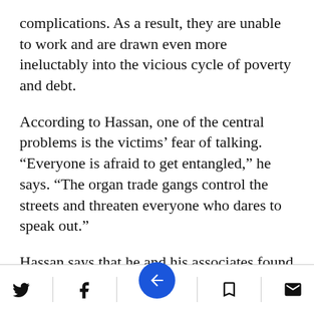complications. As a result, they are unable to work and are drawn even more ineluctably into the vicious cycle of poverty and debt.
According to Hassan, one of the central problems is the victims’ fear of talking. “Everyone is afraid to get entangled,” he says. “The organ trade gangs control the streets and threaten everyone who dares to speak out.”
Hassan says that he and his associates found a direct channel between Khartoum and Cairo. “The gangs here operate through travel agencies,” he says. “Some of them are in
Twitter | Facebook | Bookmark | Email